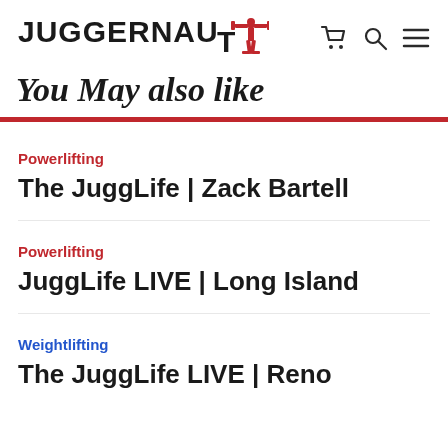JUGGERNAUT
You May also like
Powerlifting
The JuggLife | Zack Bartell
Powerlifting
JuggLife LIVE | Long Island
Weightlifting
The JuggLife LIVE | Reno